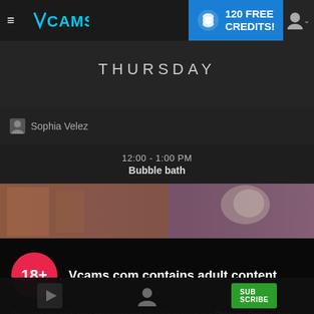≡ VCAMS | 120 FREE CREDITS!
THURSDAY
Sophia Velez
12:00 - 1:00 PM
Bubble bath
[Figure (photo): Partial photo strip showing warm-toned interior scene]
Vcams.com contains adult content
By using the site, you acknowledge you have read our Privacy Policy, and agree to our Terms and Conditions.
We use cookies to optimize your experience, analyze traffic, and deliver more personalized service. To learn more, please see our Privacy Policy.
I AGREE